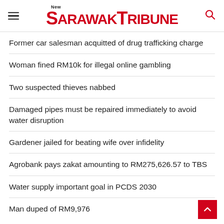New Sarawak Tribune
Former car salesman acquitted of drug trafficking charge
Woman fined RM10k for illegal online gambling
Two suspected thieves nabbed
Damaged pipes must be repaired immediately to avoid water disruption
Gardener jailed for beating wife over infidelity
Agrobank pays zakat amounting to RM275,626.57 to TBS
Water supply important goal in PCDS 2030
Man duped of RM9,976